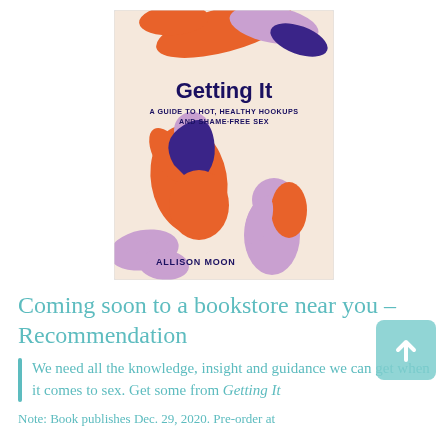[Figure (illustration): Book cover of 'Getting It: A Guide to Hot, Healthy Hookups and Shame-Free Sex' by Allison Moon. Cream/beige background with colorful illustrated figures in orange, lavender, and dark purple. Bold dark navy text for title.]
Coming soon to a bookstore near you – Recommendation
We need all the knowledge, insight and guidance we can get when it comes to sex. Get some from Getting It
Note: Book publishes Dec. 29, 2020. Pre-order at